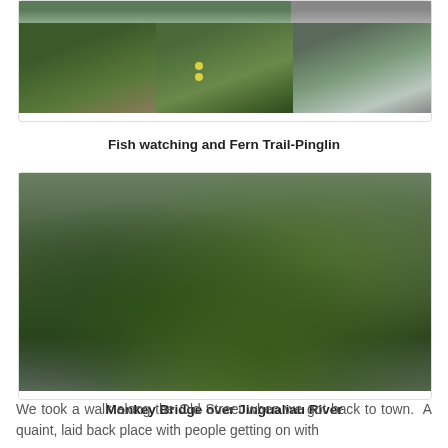[Figure (photo): Collage of nature photos showing fish watching and fern trail at Pinglin: a river view (top), bamboo forest path, close-up of green plants with yellow dots, and a waterfall over mossy rocks.]
Fish watching and Fern Trail-Pinglin
[Figure (photo): Aerial/elevated view of Monkey Bridge over the Jingualiau River, surrounded by dense green jungle and ferns.]
Monkey Bridge over Jingualiau River
We took a walk along the Old Street when we got back to town.  A quaint, laid back place with people getting on with their daily lives, travelling at a much slower pace.